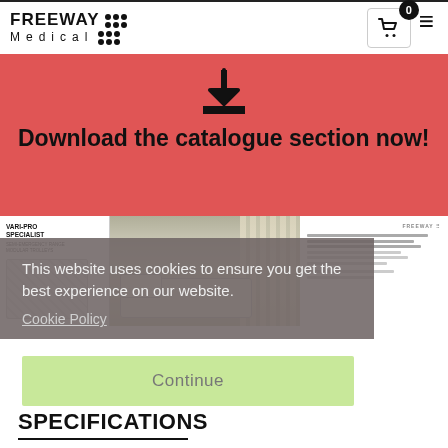[Figure (logo): Freeway Medical logo with dot grid]
[Figure (screenshot): Download the catalogue section now! banner with download icon on red background]
[Figure (screenshot): Catalogue preview showing Vari-Pro Specialist trolley and hospital bed photo]
This website uses cookies to ensure you get the best experience on our website.
Cookie Policy
Continue
SPECIFICATIONS